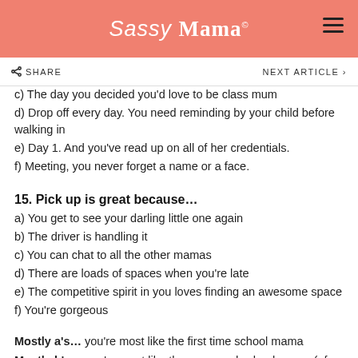Sassy Mama
SHARE   NEXT ARTICLE >
c) The day you decided you'd love to be class mum
d)  Drop off every day. You need reminding by your child before walking in
e)  Day 1. And you've read up on all of her credentials.
f)  Meeting, you never forget a name or a face.
15.  Pick up is great because…
a)  You get to see your darling little one again
b)  The driver is handling it
c)  You can chat to all the other mamas
d)  There are loads of spaces when you're late
e)  The competitive spirit in you loves finding an awesome space
f)  You're gorgeous
Mostly a's… you're most like the first time school mama
Mostly b's… you're most like the seasoned school mama (of many)